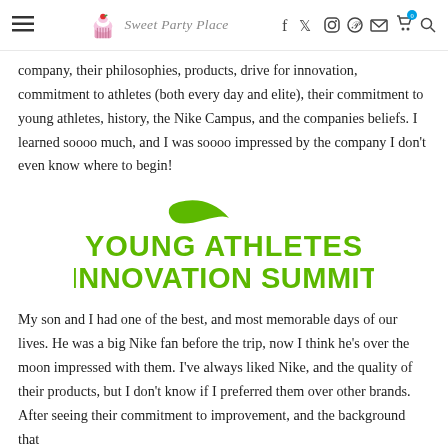Sweet Party Place — navigation header with social icons
company, their philosophies, products, drive for innovation, commitment to athletes (both every day and elite), their commitment to young athletes, history, the Nike Campus, and the companies beliefs. I learned soooo much, and I was soooo impressed by the company I don't even know where to begin!
[Figure (logo): Nike Young Athletes Innovation Summit logo — green Nike swoosh above bold green text reading YOUNG ATHLETES INNOVATION SUMMIT]
My son and I had one of the best, and most memorable days of our lives. He was a big Nike fan before the trip, now I think he's over the moon impressed with them. I've always liked Nike, and the quality of their products, but I don't know if I preferred them over other brands. After seeing their commitment to improvement, and the background that